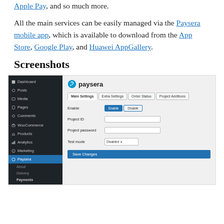Apple Pay, and so much more.
All the main services can be easily managed via the Paysera mobile app, which is available to download from the App Store, Google Play, and Huawei AppGallery.
Screenshots
[Figure (screenshot): Screenshot of the Paysera WordPress plugin admin interface showing a WooCommerce admin sidebar on the left with Paysera highlighted, and the Paysera settings panel on the right with tabs: Main Settings, Extra Settings, Order Status, Project Additions. Fields shown: Enable (with Enable/Disable toggle), Project ID (text input), Project password (text input), Test mode (Disabled dropdown), and a Save Changes button.]